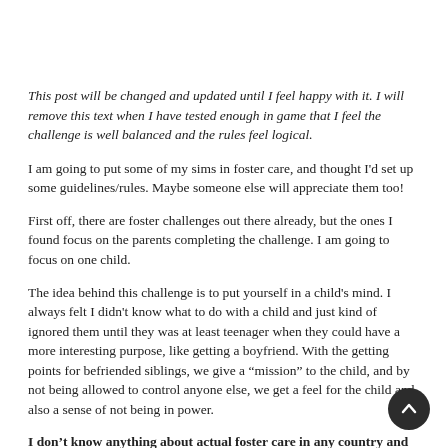This post will be changed and updated until I feel happy with it. I will remove this text when I have tested enough in game that I feel the challenge is well balanced and the rules feel logical.
I am going to put some of my sims in foster care, and thought I'd set up some guidelines/rules. Maybe someone else will appreciate them too!
First off, there are foster challenges out there already, but the ones I found focus on the parents completing the challenge. I am going to focus on one child.
The idea behind this challenge is to put yourself in a child's mind. I always felt I didn't know what to do with a child and just kind of ignored them until they was at least teenager when they could have a more interesting purpose, like getting a boyfriend. With the getting points for befriended siblings, we give a “mission” to the child, and by not being allowed to control anyone else, we get a feel for the child and also a sense of not being in power.
I don’t know anything about actual foster care in any country and this is just based on my vague ideas about what it actually